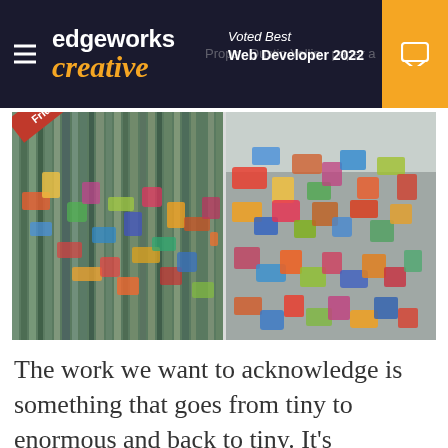edgeworks creative — Voted Best Web Developer 2022
[Figure (photo): Two side-by-side photographs of large-scale collage artwork embedded in resin, featuring layers of small colorful paper ephemera. Left image has a 'Friday Props' diagonal red ribbon banner. Right image shows a closer macro view of the colorful collage surface.]
The work we want to acknowledge is something that goes from tiny to enormous and back to tiny. It's dreamscape collages in resin with sunlight